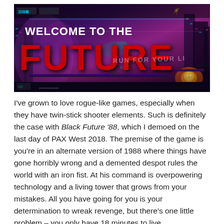[Figure (screenshot): Screenshot from Black Future '88 video game showing a dark cyberpunk side-scrolling scene. Large white text reads 'WELCOME TO THE' and large bold red text reads 'FUTURE'. Graffiti text 'RUN FOR YOUR LI[FE]' appears on the right side. The scene has purple/pink/dark atmospheric lighting with platform elements and a character figure visible.]
I've grown to love rogue-like games, especially when they have twin-stick shooter elements. Such is definitely the case with Black Future '88, which I demoed on the last day of PAX West 2018. The premise of the game is you're in an alternate version of 1988 where things have gone horribly wrong and a demented despot rules the world with an iron fist. At his command is overpowering technology and a living tower that grows from your mistakes. All you have going for you is your determination to wreak revenge, but there's one little problem – you only have 18 minutes to live.